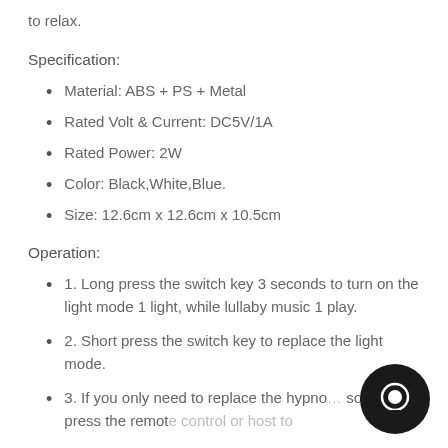to relax.
Specification:
Material: ABS + PS + Metal
Rated Volt & Current: DC5V/1A
Rated Power: 2W
Color: Black,White,Blue.
Size: 12.6cm x 12.6cm x 10.5cm
Operation:
1. Long press the switch key 3 seconds to turn on the light mode 1 light, while lullaby music 1 play.
2. Short press the switch key to replace the light mode.
3. If you only need to replace the hypno song, press the remote control or host to